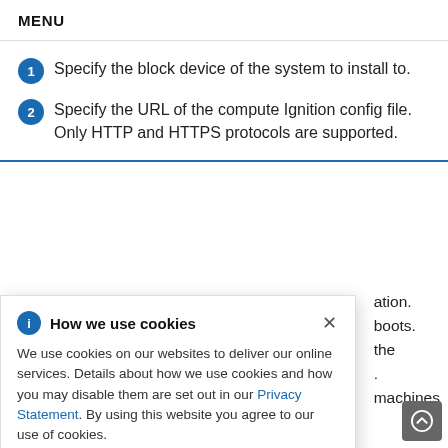MENU
Specify the block device of the system to install to.
Specify the URL of the compute Ignition config file. Only HTTP and HTTPS protocols are supported.
ation.
boots.
the
.
machines
How we use cookies

We use cookies on our websites to deliver our online services. Details about how we use cookies and how you may disable them are set out in our Privacy Statement. By using this website you agree to our use of cookies.